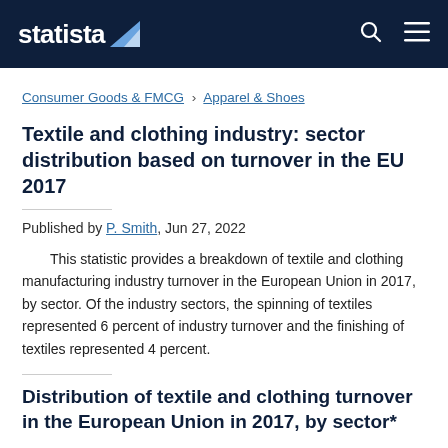statista
Consumer Goods & FMCG › Apparel & Shoes
Textile and clothing industry: sector distribution based on turnover in the EU 2017
Published by P. Smith, Jun 27, 2022
This statistic provides a breakdown of textile and clothing manufacturing industry turnover in the European Union in 2017, by sector. Of the industry sectors, the spinning of textiles represented 6 percent of industry turnover and the finishing of textiles represented 4 percent.
Distribution of textile and clothing turnover in the European Union in 2017, by sector*